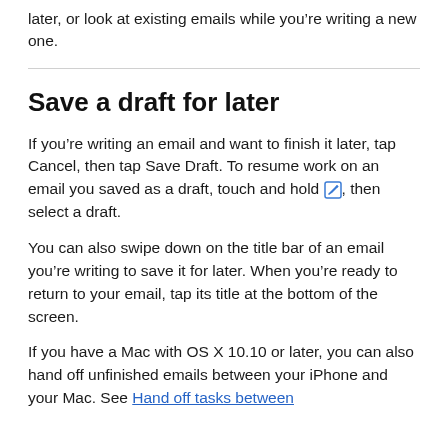later, or look at existing emails while you're writing a new one.
Save a draft for later
If you're writing an email and want to finish it later, tap Cancel, then tap Save Draft. To resume work on an email you saved as a draft, touch and hold [compose icon], then select a draft.
You can also swipe down on the title bar of an email you're writing to save it for later. When you're ready to return to your email, tap its title at the bottom of the screen.
If you have a Mac with OS X 10.10 or later, you can also hand off unfinished emails between your iPhone and your Mac. See Hand off tasks between devices (below).